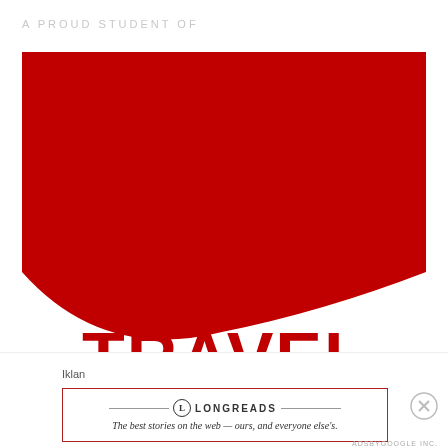A PROUD STUDENT OF
[Figure (logo): Travel Bloggers logo: large red background with a sweeping white curve at the bottom-left, bold red text 'TRAVEL' and partial 'BLOGGERS' text visible below on white background]
Iklan
[Figure (logo): Longreads advertisement banner: red border box with Longreads logo (L in circle) and text 'The best stories on the web — ours, and everyone else's.' in italic serif font]
ADSBYGOOGLE INC.